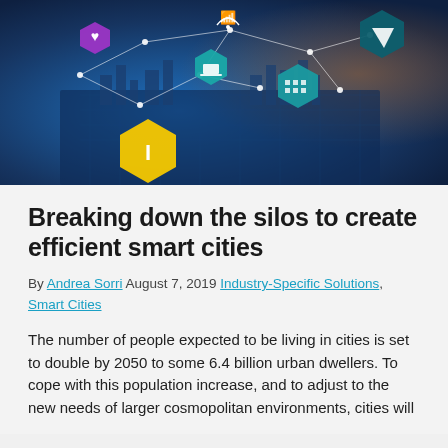[Figure (photo): Aerial view of a smart city with technology icons (IoT, WiFi, health, buildings, transportation) connected by network lines overlaid on a 3D city model with blue lighting.]
Breaking down the silos to create efficient smart cities
By Andrea Sorri August 7, 2019 Industry-Specific Solutions, Smart Cities
The number of people expected to be living in cities is set to double by 2050 to some 6.4 billion urban dwellers. To cope with this population increase, and to adjust to the new needs of larger cosmopolitan environments, cities will